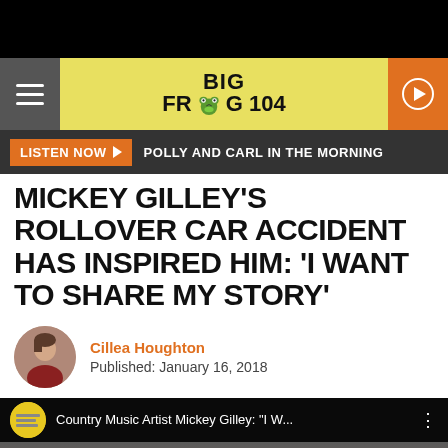BIG FROG 104
LISTEN NOW ▶  POLLY AND CARL IN THE MORNING
MICKEY GILLEY'S ROLLOVER CAR ACCIDENT HAS INSPIRED HIM: 'I WANT TO SHARE MY STORY'
Cillea Houghton
Published: January 16, 2018
[Figure (screenshot): YouTube video embed showing Country Music Artist Mickey Gilley with title 'Country Music Artist Mickey Gilley: "I W...']